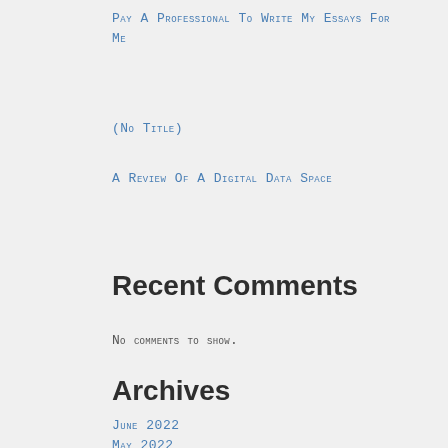Pay a Professional to Write My Essays For Me
(no title)
A Review of a Digital Data Space
Recent Comments
No comments to show.
Archives
June 2022
May 2022